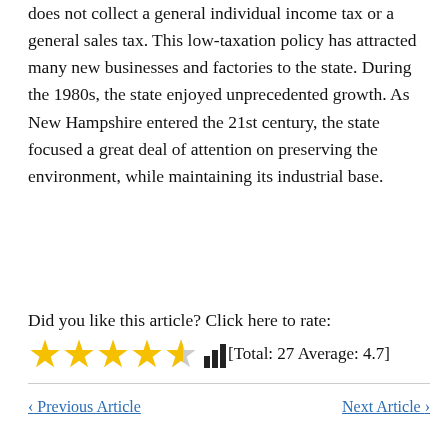does not collect a general individual income tax or a general sales tax. This low-taxation policy has attracted many new businesses and factories to the state. During the 1980s, the state enjoyed unprecedented growth. As New Hampshire entered the 21st century, the state focused a great deal of attention on preserving the environment, while maintaining its industrial base.
Did you like this article? Click here to rate:
[Figure (other): 4.5 star rating with bar chart icon and text showing [Total: 27 Average: 4.7]]
‹ Previous Article    Next Article ›